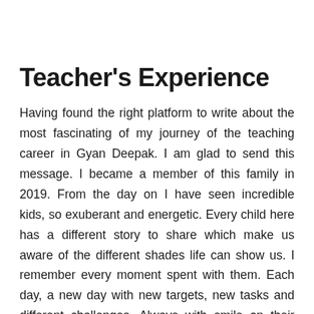Teacher's Experience
Having found the right platform to write about the most fascinating of my journey of the teaching career in Gyan Deepak. I am glad to send this message. I became a member of this family in 2019. From the day on I have seen incredible kids, so exuberant and energetic. Every child here has a different story to share which make us aware of the different shades life can show us. I remember every moment spent with them. Each day, a new day with new targets, new tasks and different challenges. Always with smile on their faces, children are ready to gasp anything taught in the class. Sometimes I find myself unable to make them quick in grasping things in English but I have to be patient enough and teach them in a different way. An exciting change is always welcoming and I take a few sessions in the outdoor space of the terrace, which actually